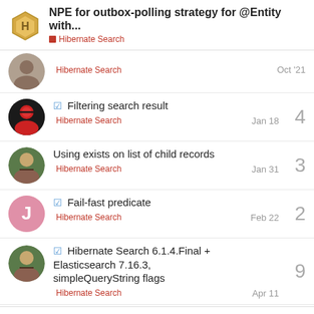NPE for outbox-polling strategy for @Entity with... — Hibernate Search
Hibernate Search — Oct '21
✓ Filtering search result — Hibernate Search — Jan 18 — 4 replies
Using exists on list of child records — Hibernate Search — Jan 31 — 3 replies
✓ Fail-fast predicate — Hibernate Search — Feb 22 — 2 replies
✓ Hibernate Search 6.1.4.Final + Elasticsearch 7.16.3, simpleQueryString flags — Hibernate Search — Apr 11 — 9 replies
Want to read more? Browse other topics in Hibernate Search or view latest topics.